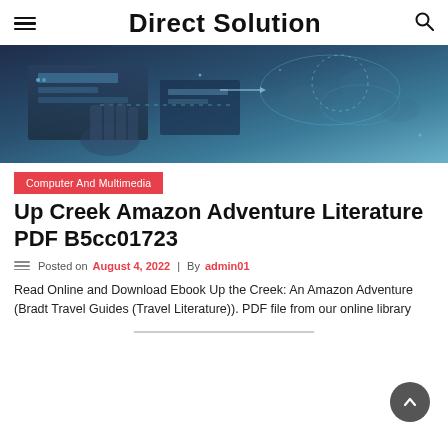Direct Solution
[Figure (photo): Technology background image showing a hand interacting with a digital interface with world map holographic elements in blue tones]
Computer And Multimedia
Up Creek Amazon Adventure Literature PDF B5cc01723
Posted on August 4, 2022 | By admin01
Read Online and Download Ebook Up the Creek: An Amazon Adventure (Bradt Travel Guides (Travel Literature)). PDF file from our online library